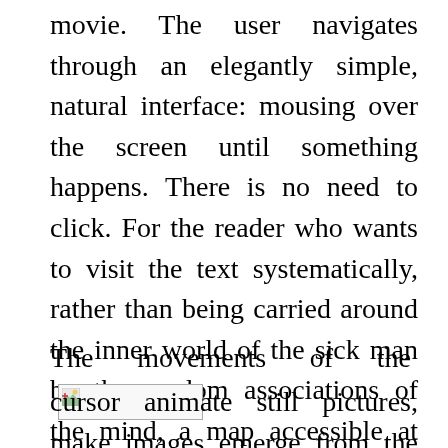movie. The user navigates through an elegantly simple, natural interface: mousing over the screen until something happens. There is no need to click. For the reader who wants to visit the text systematically, rather than being carried around the inner world of the sick man by the random associations of the mind, a map accessible at any time gives direct access to every screen by clicking on its thumbnail image.
The movements of the [image] cursor animate still pictures, make images emerge from the deep (effects, d...
[Figure (photo): Broken/missing image placeholder (small icon with torn image symbol) displayed inline within text paragraph]